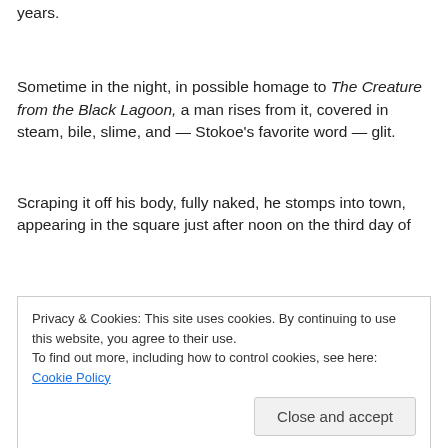years.
Sometime in the night, in possible homage to The Creature from the Black Lagoon, a man rises from it, covered in steam, bile, slime, and — Stokoe's favorite word — glit.
Scraping it off his body, fully naked, he stomps into town, appearing in the square just after noon on the third day of
Privacy & Cookies: This site uses cookies. By continuing to use this website, you agree to their use.
To find out more, including how to control cookies, see here: Cookie Policy
credential, and is let through with no request for payment.